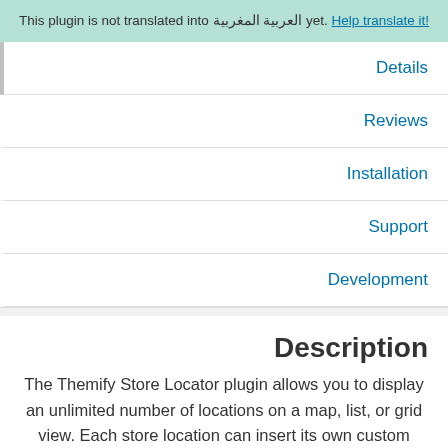This plugin is not translated into العربية المغربية yet. Help translate it!
Details
Reviews
Installation
Support
Development
Description
The Themify Store Locator plugin allows you to display an unlimited number of locations on a map, list, or grid view. Each store location can insert its own custom description, address, contact phone numbers, and business hours. All this information